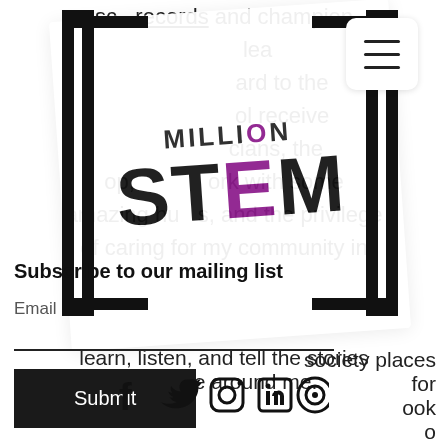[Figure (logo): Million STEM logo with bracket frame and white card overlay]
sc records and champion learn ard to the ol receive cians, the op, ork with some amazing hu s, and the privilege of caring for my community in the society places for ook o learn, listen, and tell the stories of those around me.
Subscribe to our mailing list
Email
Submit
[Figure (other): Social media icons: Facebook, Twitter, Instagram, LinkedIn, and a circular icon]